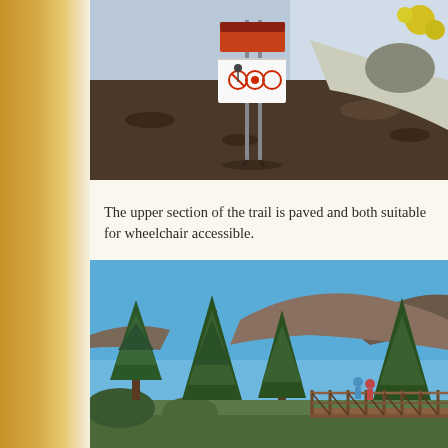[Figure (photo): Photo of a trail sign on metal posts along a paved path, with dark volcanic soil and rocks visible, and yellow-flowering shrubs in the background]
The upper section of the trail is paved and both suitable for wheelchair accessible.
[Figure (photo): Photo of pine trees against a blue sky with a dark volcanic cinder cone in the background, and visitors on a wooden bridge/boardwalk in the foreground]